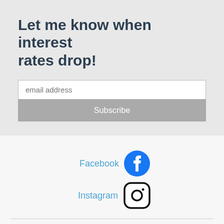Let me know when interest rates drop!
email address
Subscribe
[Figure (logo): Facebook logo — blue circle with white 'f']
[Figure (logo): Instagram logo — rounded square with camera icon]
39A Jln Pemimpin, #02-00C, Singapore 577183